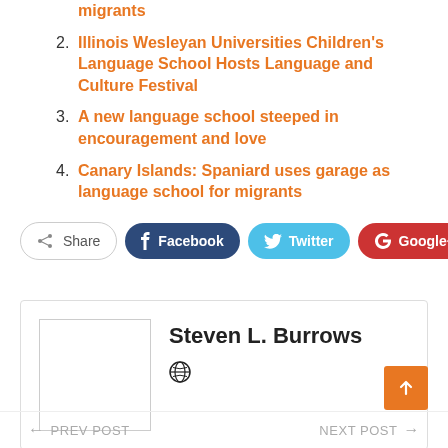migrants
2. Illinois Wesleyan Universities Children's Language School Hosts Language and Culture Festival
3. A new language school steeped in encouragement and love
4. Canary Islands: Spaniard uses garage as language school for migrants
[Figure (infographic): Social share buttons: Share, Facebook, Twitter, Google+, and a plus button]
[Figure (infographic): Author box with photo placeholder, name Steven L. Burrows, and globe website icon]
[Figure (infographic): Orange scroll-to-top button with upward arrow icon]
← PREV POST    NEXT POST →